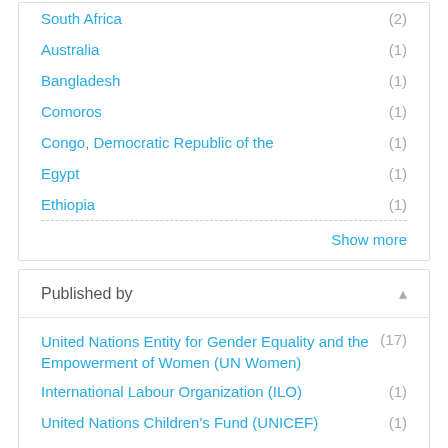South Africa (2)
Australia (1)
Bangladesh (1)
Comoros (1)
Congo, Democratic Republic of the (1)
Egypt (1)
Ethiopia (1)
Show more
Published by
United Nations Entity for Gender Equality and the Empowerment of Women (UN Women) (17)
International Labour Organization (ILO) (1)
United Nations Children's Fund (UNICEF) (1)
United Nations Population Fund (UNFPA) (1)